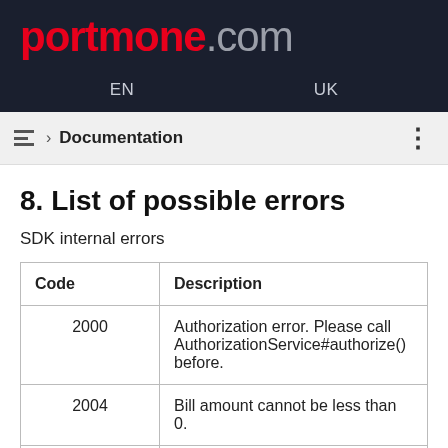portmone.com
EN   UK
Documentation
8. List of possible errors
SDK internal errors
| Code | Description |
| --- | --- |
| 2000 | Authorization error. Please call AuthorizationService#authorize() before. |
| 2004 | Bill amount cannot be less than 0. |
| 2005 | Phone number is invalid. |
| 2006 | Phone number cannot be empty. |